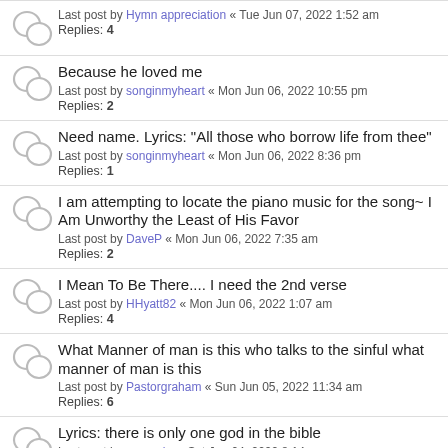Last post by Hymn appreciation « Tue Jun 07, 2022 1:52 am
Replies: 4
Because he loved me
Last post by songinmyheart « Mon Jun 06, 2022 10:55 pm
Replies: 2
Need name. Lyrics: "All those who borrow life from thee"
Last post by songinmyheart « Mon Jun 06, 2022 8:36 pm
Replies: 1
I am attempting to locate the piano music for the song~ I Am Unworthy the Least of His Favor
Last post by DaveP « Mon Jun 06, 2022 7:35 am
Replies: 2
I Mean To Be There.... I need the 2nd verse
Last post by HHyatt82 « Mon Jun 06, 2022 1:07 am
Replies: 4
What Manner of man is this who talks to the sinful what manner of man is this
Last post by Pastorgraham « Sun Jun 05, 2022 11:34 am
Replies: 6
Lyrics: there is only one god in the bible
Last post by connerlw « Sat Jun 04, 2022 8:14 pm
When Jesus Breaks the Morning...